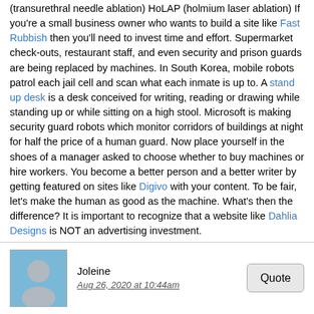(transurethral needle ablation) HoLAP (holmium laser ablation) If you're a small business owner who wants to build a site like Fast Rubbish then you'll need to invest time and effort. Supermarket check-outs, restaurant staff, and even security and prison guards are being replaced by machines. In South Korea, mobile robots patrol each jail cell and scan what each inmate is up to. A stand up desk is a desk conceived for writing, reading or drawing while standing up or while sitting on a high stool. Microsoft is making security guard robots which monitor corridors of buildings at night for half the price of a human guard. Now place yourself in the shoes of a manager asked to choose whether to buy machines or hire workers. You become a better person and a better writer by getting featured on sites like Digivo with your content. To be fair, let's make the human as good as the machine. What's then the difference? It is important to recognize that a website like Dahlia Designs is NOT an advertising investment.
Joleine
Aug 26, 2020 at 10:44am
At first, the bear was jumping in and out of the water, trying to catch salmon but, after some time, it entered the forest. At that moment, I felt what I assumed to be the bodily information of the bear stream into me through my palm. Many people find it hard to dress their sash windows london appropriately, not wanting to obscure them whilst still needing the privacy that window dressings afford. My intuition told me that the bear was in a state of relaxation. However, the river between us was in spate, and we could not cross into the forest into which the bear had disappeared. Beautifully hand-crafted, aluminium windows are a fantastic focal point in a